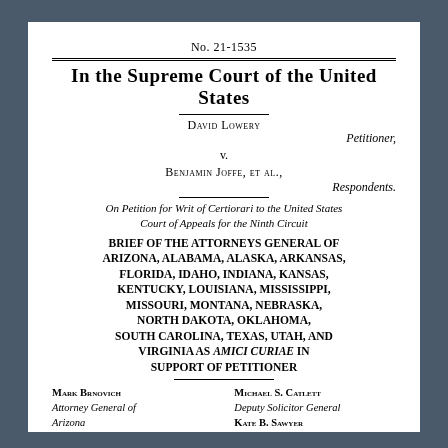No. 21-1535
In the Supreme Court of the United States
David Lowery, Petitioner,
v.
Benjamin Joffe, et al., Respondents.
On Petition for Writ of Certiorari to the United States Court of Appeals for the Ninth Circuit
BRIEF OF THE ATTORNEYS GENERAL OF ARIZONA, ALABAMA, ALASKA, ARKANSAS, FLORIDA, IDAHO, INDIANA, KANSAS, KENTUCKY, LOUISIANA, MISSISSIPPI, MISSOURI, MONTANA, NEBRASKA, NORTH DAKOTA, OKLAHOMA, SOUTH CAROLINA, TEXAS, UTAH, AND VIRGINIA AS AMICI CURIAE IN SUPPORT OF PETITIONER
Mark Brnovich, Attorney General of Arizona
Michael S. Catlett, Deputy Solicitor General, Kate B. Sawyer